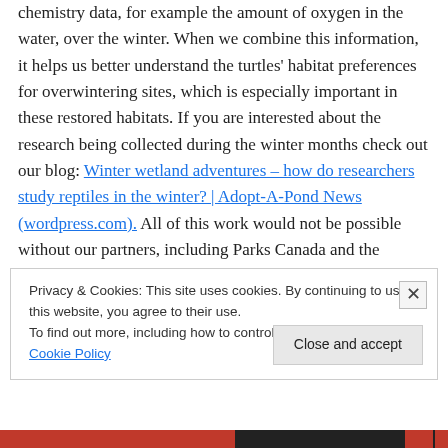chemistry data, for example the amount of oxygen in the water, over the winter. When we combine this information, it helps us better understand the turtles' habitat preferences for overwintering sites, which is especially important in these restored habitats. If you are interested about the research being collected during the winter months check out our blog: Winter wetland adventures – how do researchers study reptiles in the winter? | Adopt-A-Pond News (wordpress.com). All of this work would not be possible without our partners, including Parks Canada and the Toronto and Region Conservation Authority.
Privacy & Cookies: This site uses cookies. By continuing to use this website, you agree to their use. To find out more, including how to control cookies, see here: Cookie Policy